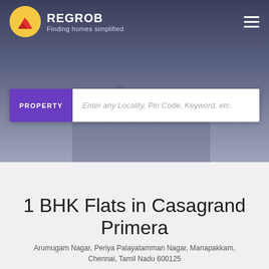[Figure (logo): REGROB logo with yellow circle, red/orange mountain icon, brand name REGROB and tagline Finding homes simplified on dark blue/navy background with building silhouette and hamburger menu icon]
PROPERTY — Enter any Locality, Pin Code, Keyword, etc.
1 BHK Flats in Casagrand Primera
Arumugam Nagar, Periya Palayatamman Nagar, Manapakkam, Chennai, Tamil Nadu 600125